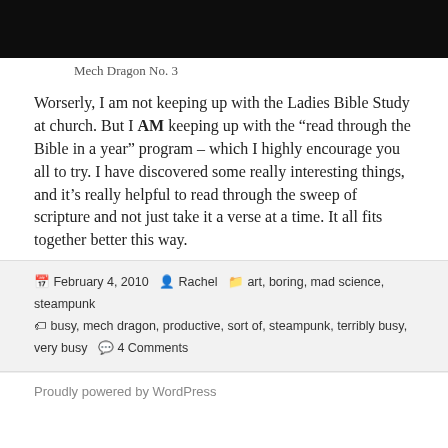[Figure (photo): Dark photograph showing a mechanical dragon sculpture (Mech Dragon No. 3) against a black background.]
Mech Dragon No. 3
Worserly, I am not keeping up with the Ladies Bible Study at church. But I AM keeping up with the “read through the Bible in a year” program – which I highly encourage you all to try. I have discovered some really interesting things, and it’s really helpful to read through the sweep of scripture and not just take it a verse at a time. It all fits together better this way.
February 4, 2010  Rachel  art, boring, mad science, steampunk  busy, mech dragon, productive, sort of, steampunk, terribly busy, very busy  4 Comments
Proudly powered by WordPress